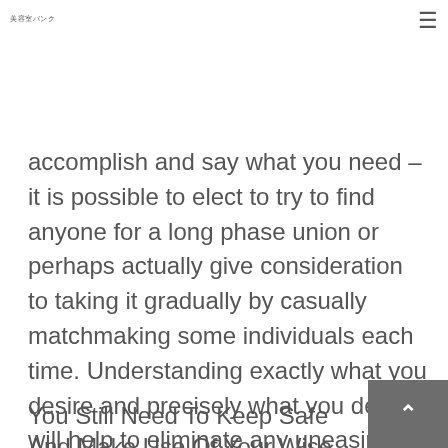美容室バンク
accomplish and say what you need – it is possible to elect to try to find anyone for a long phase union or perhaps actually give consideration to taking it gradually by casually matchmaking some individuals each time. Understanding exactly what you desire and precisely what you desire will help to eliminate any uneasiness and awkwardness and hopefully create a great energy both for.
You Still Need To Keep Safe And Make Use Of Your Wise Practice